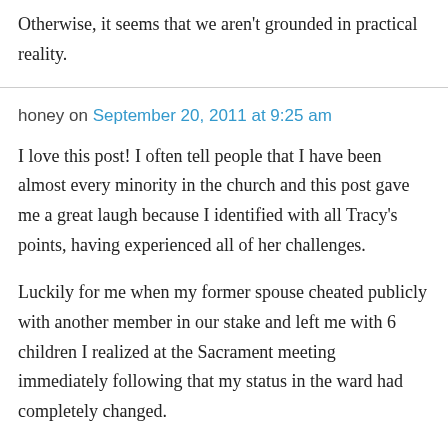Otherwise, it seems that we aren't grounded in practical reality.
honey on September 20, 2011 at 9:25 am
I love this post! I often tell people that I have been almost every minority in the church and this post gave me a great laugh because I identified with all Tracy's points, having experienced all of her challenges.
Luckily for me when my former spouse cheated publicly with another member in our stake and left me with 6 children I realized at the Sacrament meeting immediately following that my status in the ward had completely changed.